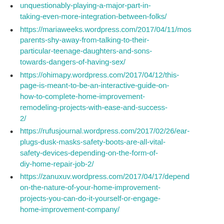unquestionably-playing-a-major-part-in-taking-even-more-integration-between-folks/
https://mariaweeks.wordpress.com/2017/04/11/most-parents-shy-away-from-talking-to-their-particular-teenage-daughters-and-sons-towards-dangers-of-having-sex/
https://ohimapy.wordpress.com/2017/04/12/this-page-is-meant-to-be-an-interactive-guide-on-how-to-complete-home-improvement-remodeling-projects-with-ease-and-success-2/
https://rufusjournal.wordpress.com/2017/02/26/ear-plugs-dusk-masks-safety-boots-are-all-vital-safety-devices-depending-on-the-form-of-diy-home-repair-job-2/
https://zanuxuv.wordpress.com/2017/04/17/depending-on-the-nature-of-your-home-improvement-projects-you-can-do-it-yourself-or-engage-home-improvement-company/